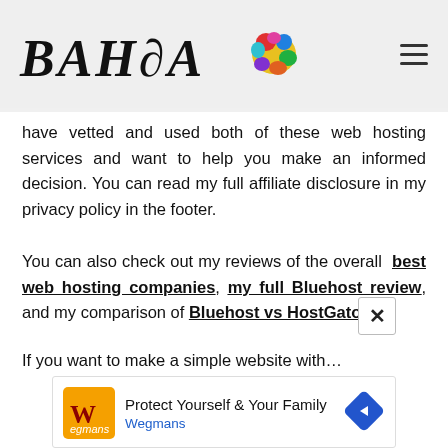BAHIA [logo with colorful splat]
have vetted and used both of these web hosting services and want to help you make an informed decision. You can read my full affiliate disclosure in my privacy policy in the footer.
You can also check out my reviews of the overall best web hosting companies, my full Bluehost review, and my comparison of Bluehost vs HostGator.
If you want to make a simple website with...
[Figure (screenshot): Advertisement overlay: Wegmans ad with orange icon, 'Protect Yourself & Your Family' headline, 'Wegmans' subtext in blue, blue navigation arrow icon, close button (×), play and close controls at bottom.]